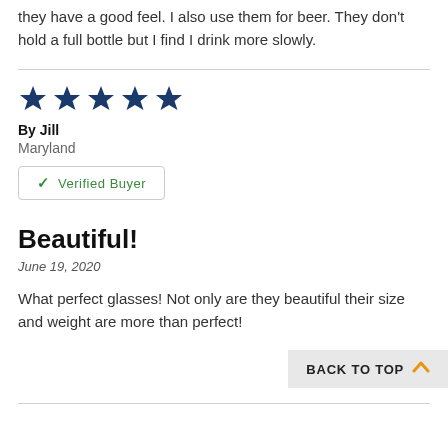they have a good feel. I also use them for beer. They don't hold a full bottle but I find I drink more slowly.
★★★★★
By Jill
Maryland
✓ Verified Buyer
Beautiful!
June 19, 2020
What perfect glasses! Not only are they beautiful their size and weight are more than perfect!
BACK TO TOP ∧